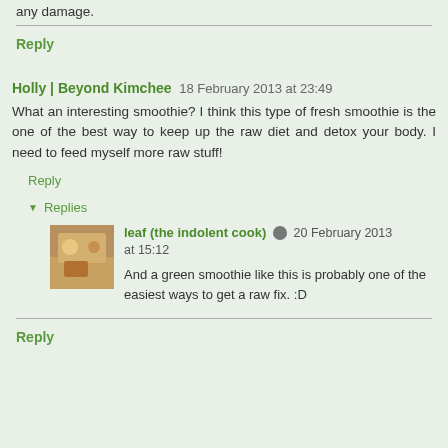any damage.
Reply
Holly | Beyond Kimchee  18 February 2013 at 23:49
What an interesting smoothie? I think this type of fresh smoothie is the one of the best way to keep up the raw diet and detox your body. I need to feed myself more raw stuff!
Reply
Replies
leaf (the indolent cook)  20 February 2013 at 15:12
And a green smoothie like this is probably one of the easiest ways to get a raw fix. :D
Reply